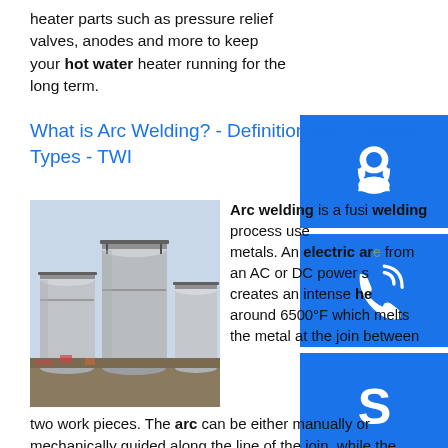heater parts such as pressure relief valves, anodes and more to keep your hot water heater running for the long term.
What is Arc Welding? - Definition and Process Types - TWI
[Figure (photo): Industrial storage tanks (silos) in an outdoor construction site, photographed from ground level showing three large cylindrical metal tanks with scaffolding/railings on top.]
Arc welding is a fusion welding process used to join metals. An electric arc from an AC or DC power source creates an intense heat of around 6500°F which melts the metal at the join between two work pieces. The arc can be either manually or mechanically guided along the line of the join, while the electrode either simply carries the current or ...sp.info Heating Valves & Accessories - Plumbing, Heating and Water ...Heating Valves & Accessories. Professional-grade heating valves and accessories help ensure fast, efficient